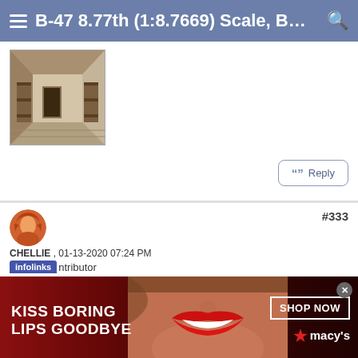B-47 8.77th (1:8.7669) Scale, B...
[Figure (photo): Interior photo of a wooden room with bunk beds and wooden flooring, viewed from the doorway]
Reply
#333
CHELLIE , 01-13-2020 07:24 PM
Contributor
[Figure (photo): Advertisement banner: KISS BORING LIPS GOODBYE with a woman's face wearing red lipstick, SHOP NOW button, and Macy's logo]